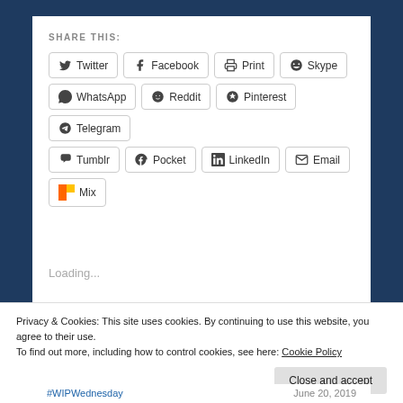SHARE THIS:
[Figure (infographic): Social share buttons: Twitter, Facebook, Print, Skype, WhatsApp, Reddit, Pinterest, Telegram, Tumblr, Pocket, LinkedIn, Email, Mix]
Loading...
RELATED
Privacy & Cookies: This site uses cookies. By continuing to use this website, you agree to their use.
To find out more, including how to control cookies, see here: Cookie Policy
Close and accept
#WIPWednesday   June 20, 2019